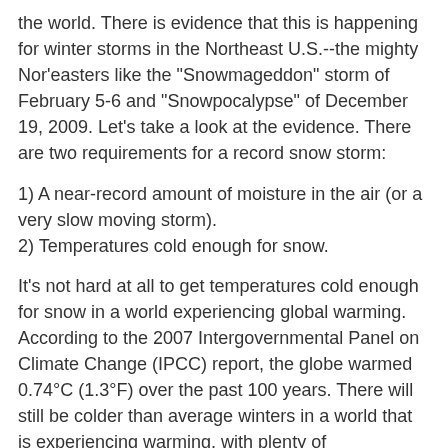the world. There is evidence that this is happening for winter storms in the Northeast U.S.--the mighty Nor'easters like the "Snowmageddon" storm of February 5-6 and "Snowpocalypse" of December 19, 2009. Let's take a look at the evidence. There are two requirements for a record snow storm:
1) A near-record amount of moisture in the air (or a very slow moving storm).
2) Temperatures cold enough for snow.
It's not hard at all to get temperatures cold enough for snow in a world experiencing global warming. According to the 2007 Intergovernmental Panel on Climate Change (IPCC) report, the globe warmed 0.74°C (1.3°F) over the past 100 years. There will still be colder than average winters in a world that is experiencing warming, with plenty of opportunities for snow. The more difficult ingredient for producing a record snowstorm is the requirement of near-record levels of moisture. Global warming theory predicts that global precipitation will increase, and that heavy precipitation events--the ones most likely to cause flash